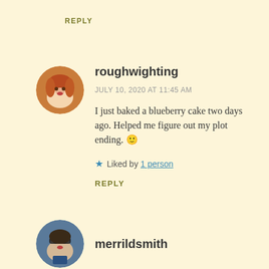REPLY
roughwighting
JULY 10, 2020 AT 11:45 AM
I just baked a blueberry cake two days ago. Helped me figure out my plot ending. 🙂
★ Liked by 1 person
REPLY
[Figure (photo): Circular avatar photo of roughwighting, a woman with red/auburn hair]
merrildsmith
[Figure (photo): Circular avatar photo of merrildsmith, a person with sunglasses]